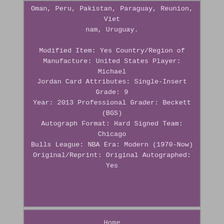Oman, Peru, Pakistan, Paraguay, Reunion, Viet nam, Uruguay.

Modified Item: Yes Country/Region of Manufacture: United States Player: Michael Jordan Card Attributes: Single-Insert Grade: 9 Year: 2013 Professional Grader: Beckett (BGS) Autograph Format: Hard Signed Team: Chicago Bulls League: NBA Era: Modern (1970-Now) Original/Reprint: Original Autographed: Yes
Home
Archives
Contact Form
Privacy Policy Agreement
Terms of service